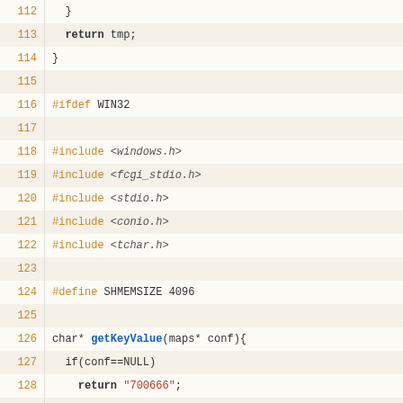Source code listing lines 112-138, C code with preprocessor directives and function getKeyValue